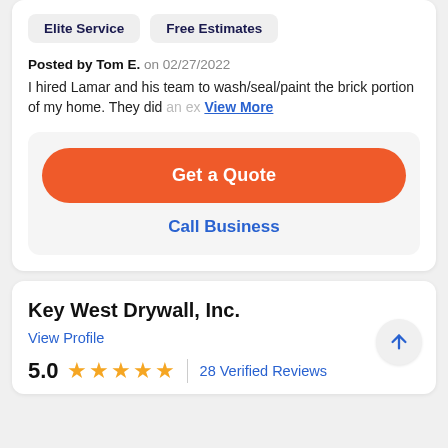Elite Service
Free Estimates
Posted by Tom E. on 02/27/2022
I hired Lamar and his team to wash/seal/paint the brick portion of my home. They did an ex... View More
Get a Quote
Call Business
Key West Drywall, Inc.
View Profile
5.0 ★★★★★ | 28 Verified Reviews